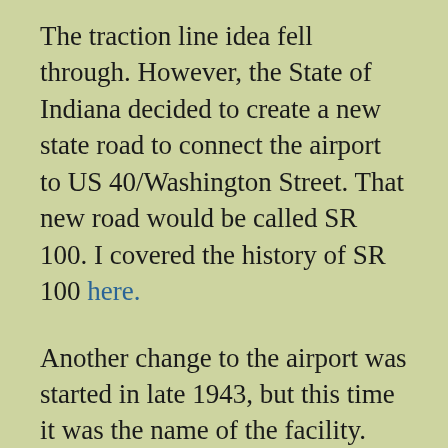The traction line idea fell through. However, the State of Indiana decided to create a new state road to connect the airport to US 40/Washington Street. That new road would be called SR 100. I covered the history of SR 100 here.
Another change to the airport was started in late 1943, but this time it was the name of the facility. Colonel Harvey Weir Cook, a World War I ace from Indiana, was killed in action in the South Pacific theater of World War II. He was killed when his P-39 fighter failed to come out of a spin on 21 March 1943. According to the Indianapolis News of 20 December 1943, the Indianapolis Board of Public Works and...